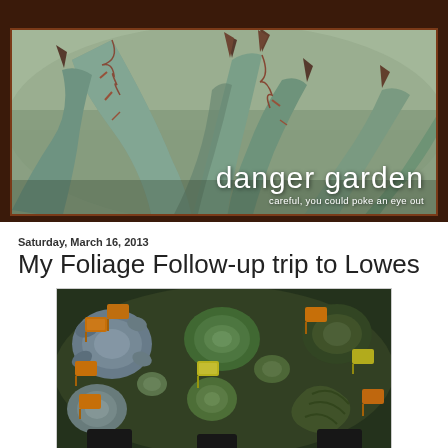[Figure (photo): Blog header banner showing a close-up of an agave plant with dark red-tipped spines and blue-green leaves. White text overlay reads 'danger garden' with subtitle 'careful, you could poke an eye out']
Saturday, March 16, 2013
My Foliage Follow-up trip to Lowes
[Figure (photo): Photo of assorted succulent plants in small black pots with orange and yellow plant identification tags at a Lowes garden center]